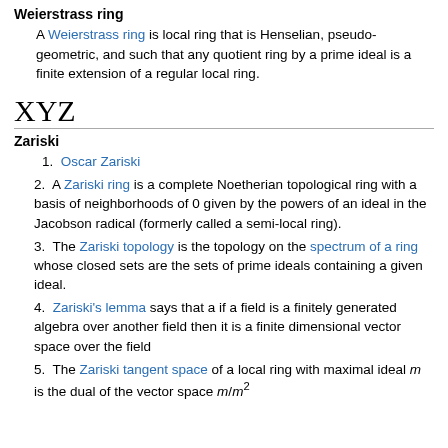Weierstrass ring
A Weierstrass ring is local ring that is Henselian, pseudo-geometric, and such that any quotient ring by a prime ideal is a finite extension of a regular local ring.
XYZ
Zariski
1. Oscar Zariski
2. A Zariski ring is a complete Noetherian topological ring with a basis of neighborhoods of 0 given by the powers of an ideal in the Jacobson radical (formerly called a semi-local ring).
3. The Zariski topology is the topology on the spectrum of a ring whose closed sets are the sets of prime ideals containing a given ideal.
4. Zariski's lemma says that a if a field is a finitely generated algebra over another field then it is a finite dimensional vector space over the field
5. The Zariski tangent space of a local ring with maximal ideal m is the dual of the vector space m/m²